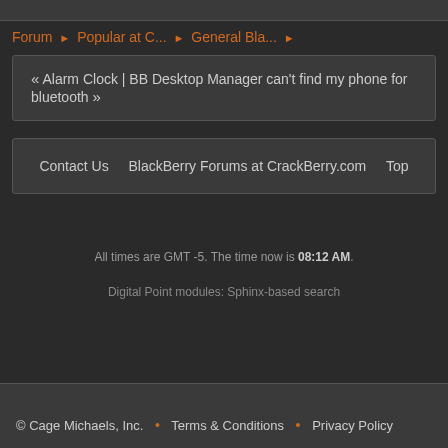Forum ▶ Popular at C... ▶ General Bla... ▶
« Alarm Clock | BB Desktop Manager can't find my phone for bluetooth »
Contact Us   BlackBerry Forums at CrackBerry.com   Top
All times are GMT -5. The time now is 08:12 AM.
Digital Point modules: Sphinx-based search
© Cage Michaels, Inc.  •  Terms & Conditions  •  Privacy Policy